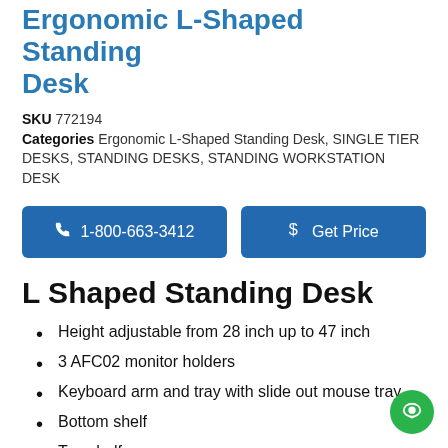Ergonomic L-Shaped Standing Desk
SKU 772194
Categories Ergonomic L-Shaped Standing Desk, SINGLE TIER DESKS, STANDING DESKS, STANDING WORKSTATION DESK
[Figure (other): Two blue call-to-action buttons: phone button '1-800-663-3412' and price button '$ Get Price']
L Shaped Standing Desk
Height adjustable from 28 inch up to 47 inch
3 AFC02 monitor holders
Keyboard arm and tray with slide out mouse tray
Bottom shelf
Top shelf